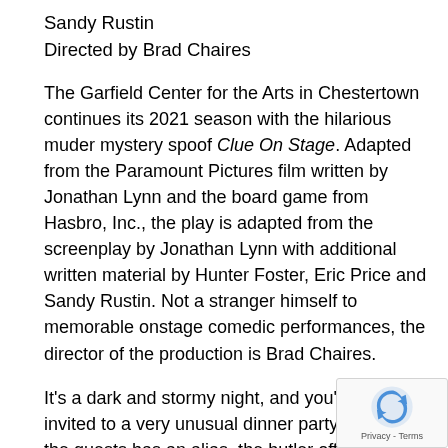Sandy Rustin
Directed by Brad Chaires
The Garfield Center for the Arts in Chestertown continues its 2021 season with the hilarious muder mystery spoof Clue On Stage. Adapted from the Paramount Pictures film written by Jonathan Lynn and the board game from Hasbro, Inc., the play is adapted from the screenplay by Jonathan Lynn with additional written material by Hunter Foster, Eric Price and Sandy Rustin. Not a stranger himself to memorable onstage comedic performances, the director of the production is Brad Chaires.
It's a dark and stormy night, and you've been invited to a very unusual dinner party. Each of the guests has an alias, the butler offers a variety of weapons, and the is, well . . . dead. So whodunnit? Join the iconic od known as Scarlet, Plum, White, Green, Peacock, and